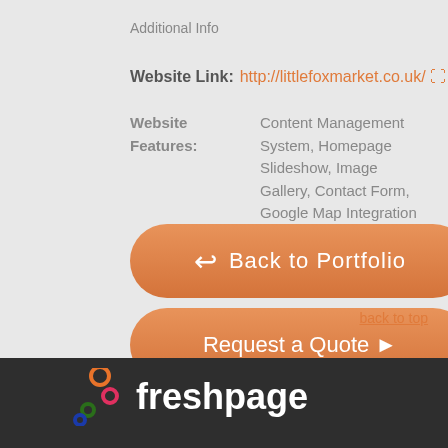Additional Info
Website Link: http://littlefoxmarket.co.uk/
Website Features: Content Management System, Homepage Slideshow, Image Gallery, Contact Form, Google Map Integration
[Figure (other): Orange rounded button with back arrow icon and text 'Back to Portfolio']
[Figure (other): Orange rounded button with text 'Request a Quote' and right arrow icon]
back to top
[Figure (logo): freshpage logo with colorful dots on dark background]